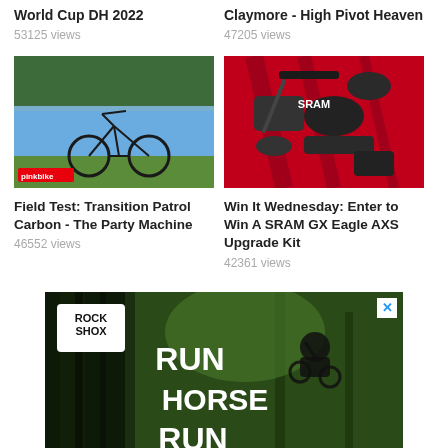World Cup DH 2022
53125 views
Claymore - High Pivot Heaven
47205 views
[Figure (photo): Mountain bike (Transition Patrol Carbon) standing on grass near a lake with forest background, with a Pinkbike logo overlay]
Field Test: Transition Patrol Carbon - The Party Machine
46552 views
[Figure (photo): SRAM GX Eagle AXS upgrade kit components laid out on a red surface]
Win It Wednesday: Enter to Win A SRAM GX Eagle AXS Upgrade Kit
42361 views
[Figure (photo): RockShox advertisement showing a mountain biker performing a jump in a dense forest. Text reads RUN HORSE RUN with RockShox logo.]